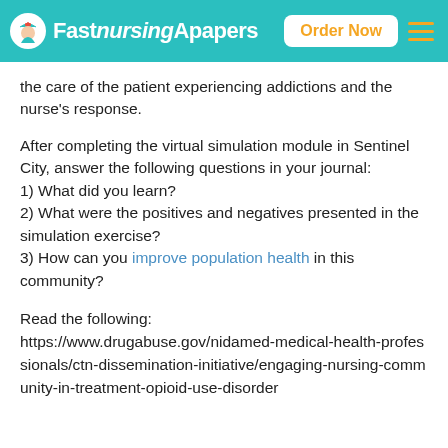FastnursingApapers | Order Now
the care of the patient experiencing addictions and the nurse's response.
After completing the virtual simulation module in Sentinel City, answer the following questions in your journal:
1) What did you learn?
2) What were the positives and negatives presented in the simulation exercise?
3) How can you improve population health in this community?
Read the following:
https://www.drugabuse.gov/nidamed-medical-health-professionals/ctn-dissemination-initiative/engaging-nursing-community-in-treatment-opioid-use-disorder